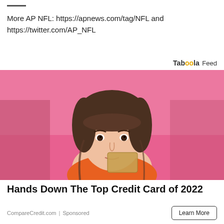More AP NFL: https://apnews.com/tag/NFL and https://twitter.com/AP_NFL
Taboola Feed
[Figure (photo): Woman with brown hair and bangs holding a gold/tan card near her face, smiling, against a pink background, wearing an orange top.]
Hands Down The Top Credit Card of 2022
CompareCredit.com | Sponsored
Learn More